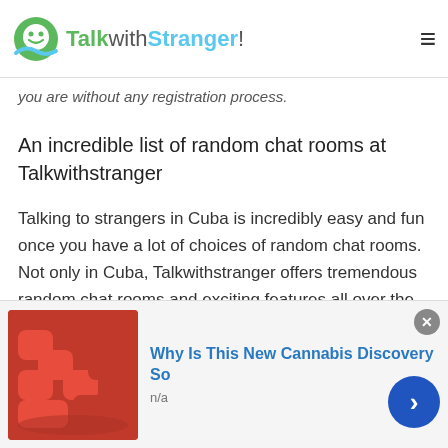TalkwithStranger!
you are without any registration process.
An incredible list of random chat rooms at Talkwithstranger
Talking to strangers in Cuba is incredibly easy and fun once you have a lot of choices of random chat rooms. Not only in Cuba, Talkwithstranger offers tremendous random chat rooms and exciting features all over the world. So, would you want to know about all of those features and random chat rooms? We know you are excited to know what the talkwithstranger offers to it...
[Figure (screenshot): Scroll-to-top button with upward chevron arrow on cyan background]
[Figure (photo): Advertisement banner: image of red gummy candy on left, bold blue text 'Why Is This New Cannabis Discovery So' with 'n/a' below, close button and blue arrow button on right]